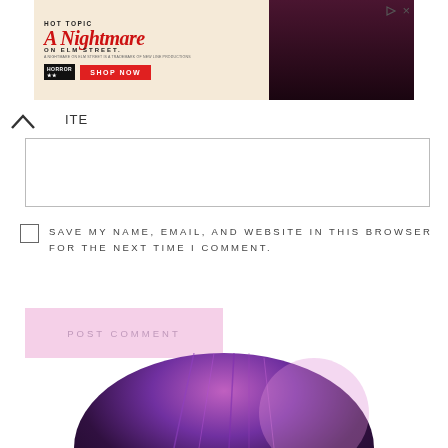[Figure (screenshot): Hot Topic advertisement banner for A Nightmare on Elm Street merchandise with 'SHOP NOW' button and two people in dark clothing on the right side]
ITE
SAVE MY NAME, EMAIL, AND WEBSITE IN THIS BROWSER FOR THE NEXT TIME I COMMENT.
POST COMMENT
[Figure (photo): Partial circular image showing purple/pink hair at the bottom of the page]